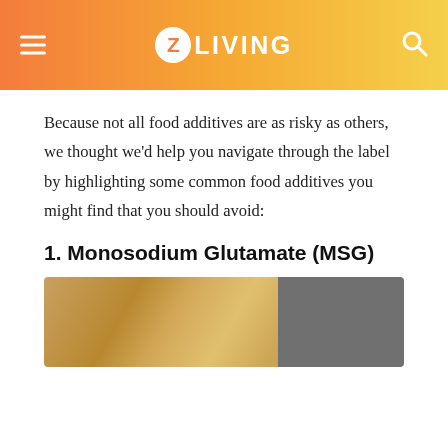Z LIVING
Because not all food additives are as risky as others, we thought we'd help you navigate through the label by highlighting some common food additives you might find that you should avoid:
1. Monosodium Glutamate (MSG)
[Figure (photo): Photo of noodles/pasta in a container with a dark background on the right side]